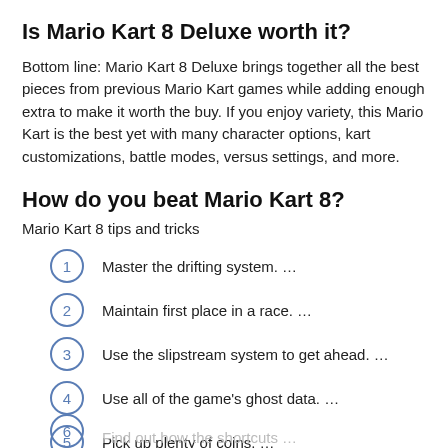Is Mario Kart 8 Deluxe worth it?
Bottom line: Mario Kart 8 Deluxe brings together all the best pieces from previous Mario Kart games while adding enough extra to make it worth the buy. If you enjoy variety, this Mario Kart is the best yet with many character options, kart customizations, battle modes, versus settings, and more.
How do you beat Mario Kart 8?
Mario Kart 8 tips and tricks
Master the drifting system. …
Maintain first place in a race. …
Use the slipstream system to get ahead. …
Use all of the game's ghost data. …
Pick up plenty of coins. …
Find out how the shortcuts …